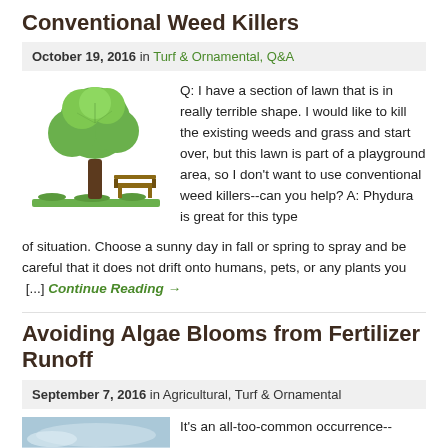Conventional Weed Killers
October 19, 2016 in Turf & Ornamental, Q&A
[Figure (illustration): Cartoon illustration of a green tree with a park bench beneath it on green grass]
Q: I have a section of lawn that is in really terrible shape. I would like to kill the existing weeds and grass and start over, but this lawn is part of a playground area, so I don't want to use conventional weed killers--can you help? A: Phydura is great for this type of situation. Choose a sunny day in fall or spring to spray and be careful that it does not drift onto humans, pets, or any plants you [...] Continue Reading →
Avoiding Algae Blooms from Fertilizer Runoff
September 7, 2016 in Agricultural, Turf & Ornamental
[Figure (photo): Photo showing algae bloom or water/sky scene]
It's an all-too-common occurrence--